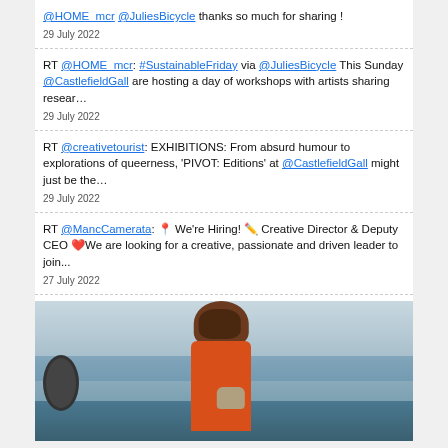@HOME_mcr @JuliesBicycle thanks so much for sharing !
29 July 2022
RT @HOME_mcr: #SustainableFriday via @JuliesBicycle This Sunday @CastlefieldGall are hosting a day of workshops with artists sharing resear…
29 July 2022
RT @creativetourist: EXHIBITIONS: From absurd humour to explorations of queerness, 'PIVOT: Editions' at @CastlefieldGall might just be the…
29 July 2022
RT @MancCamerata: 📍 We're Hiring! 🖊 Creative Director & Deputy CEO ❤We are looking for a creative, passionate and driven leader to join...
27 July 2022
[Figure (photo): A person wearing a horse head mask and an orange jacket, holding a cat, on what appears to be a boat at sea with equipment visible on the left.]